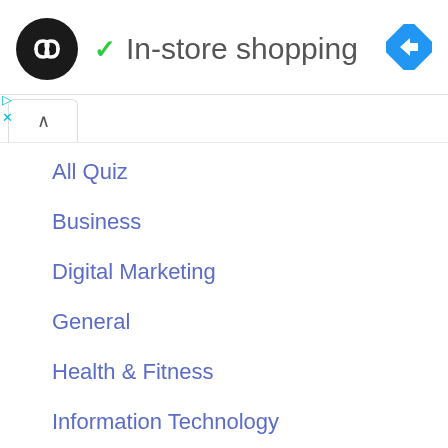[Figure (logo): Black circle logo with double arrow/infinity symbol in white, representing a quiz or navigation platform]
In-store shopping
[Figure (other): Blue diamond-shaped navigation/directions icon with white arrow]
All Quiz
Business
Digital Marketing
General
Health & Fitness
Information Technology
News
Technology
Wordpress